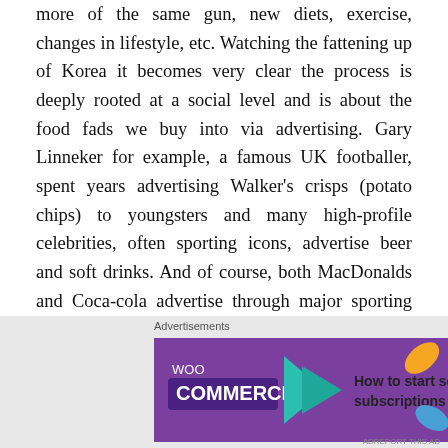more of the same gun, new diets, exercise, changes in lifestyle, etc. Watching the fattening up of Korea it becomes very clear the process is deeply rooted at a social level and is about the food fads we buy into via advertising. Gary Linneker for example, a famous UK footballer, spent years advertising Walker's crisps (potato chips) to youngsters and many high-profile celebrities, often sporting icons, advertise beer and soft drinks. And of course, both MacDonalds and Coca-cola advertise through major sporting events such as the Olympics. Then we have to consider the effective of Hollywood and the constant barrage countries like Korea face when American (western) cultural values are constantly pedaled  It was only 10 years ago in the UK that the governmer
[Figure (other): WooCommerce advertisement banner: purple background with WooCommerce logo and teal arrow, text 'How to start selling subscriptions online', orange and blue decorative leaves]